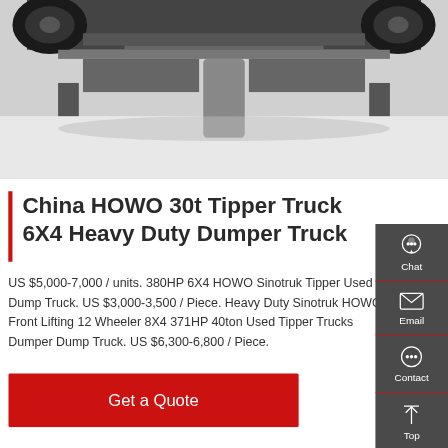[Figure (photo): Underside/chassis view of a heavy-duty truck from below, showing tires and axle components, photographed from the ground looking up.]
China HOWO 30t Tipper Truck 6X4 Heavy Duty Dumper Truck
US $5,000-7,000 / units. 380HP 6X4 HOWO Sinotruk Tipper Used Dump Truck. US $3,000-3,500 / Piece. Heavy Duty Sinotruk HOWO Front Lifting 12 Wheeler 8X4 371HP 40ton Used Tipper Trucks Dumper Dump Truck. US $6,300-6,800 / Piece.
[Figure (photo): Red HOWO heavy duty dump truck parked in front of a warehouse building under a blue sky.]